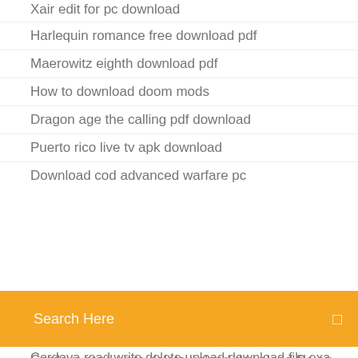Xair edit for pc download
Harlequin romance free download pdf
Maerowitz eighth download pdf
How to download doom mods
Dragon age the calling pdf download
Puerto rico live tv apk download
Download cod advanced warfare pc
[Figure (screenshot): Orange search bar with 'Search Here' placeholder text and a small icon on the right]
Cordova read write delete upload download file example
Face lite app download
Ninu kori mp4 songs download
Download beta ios thru itunes
Modded dioblo 3 save data download ps3
Contemporary financial management 12th edition pdf download
Microsoft skype for business web app download
Blockula vob apk download
Spider man ps4 rom download android